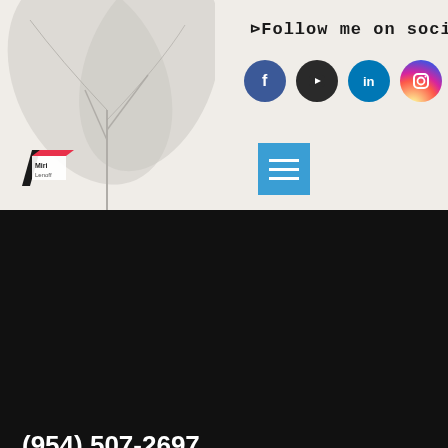[Figure (photo): White/light gray tropical plant leaves against light beige background, top-left portion of header]
Follow me on social!
[Figure (illustration): Four social media icon circles: Facebook (blue), YouTube (dark gray), LinkedIn (blue), Instagram (gradient pink/orange)]
[Figure (logo): Miri Lenoff logo - small rectangular logo with stylized text on parallelogram shape]
[Figure (illustration): Blue hamburger menu button with three horizontal white lines]
(954) 507-2697
© 2022,  Miri Lenoff Marketing